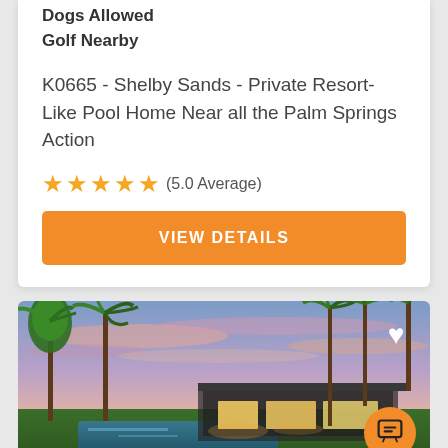Dogs Allowed
Golf Nearby
K0665 - Shelby Sands - Private Resort-Like Pool Home Near all the Palm Springs Action
⭐⭐⭐⭐⭐(5.0 Average)
VIEW DETAILS
[Figure (photo): Exterior photo of a mid-century modern Palm Springs pool home at twilight with palm trees and pink/purple sky]